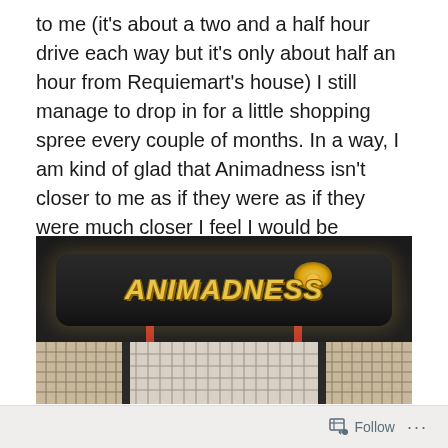to me (it's about a two and a half hour drive each way but it's only about half an hour from Requiemart's house) I still manage to drop in for a little shopping spree every couple of months. In a way, I am kind of glad that Animadness isn't closer to me as if they were as if they were much closer I feel I would be perpetually broke.
[Figure (photo): Photograph of the Animadness store front, showing a dark-colored sign with the 'ANIMADNESS' logo text in yellow/gold stylized lettering with a flame or leaf graphic. Below the sign is a traditional Japanese-style window facade with grid patterns.]
Follow ···